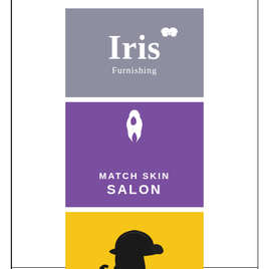[Figure (logo): Iris Furnishing logo — grey/slate square with large white italic serif 'Iris' text and small butterfly icon, 'Furnishing' subtitle in white]
[Figure (logo): Match Skin Salon logo — purple square with white female silhouette/flame icon above, text 'MATCH SKIN SALON' in white capitals]
[Figure (logo): Detective Agency logo — yellow/gold square with Sherlock Holmes silhouette (deerstalker hat, pipe), orange gradient arc at bottom, 'Detective Agency' in orange italic text]